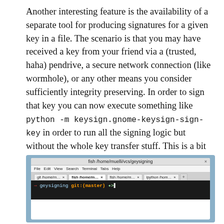Another interesting feature is the availability of a separate tool for producing signatures for a given key in a file. The scenario is that you may have received a key from your friend via a (trusted, haha) pendrive, a secure network connection (like wormhole), or any other means you consider sufficiently integrity preserving. In order to sign that key you can now execute something like python -m keysign.gnome-keysign-sign-key in order to run all the signing logic but without the whole key transfer stuff. This is a bit experimental though and I am not yet happy about the state that program is in, so it's not directly exposed to users by installing it as executable.
[Figure (screenshot): Terminal window screenshot showing fish shell at /home/muelli/vcs/geysigning directory with git:(master) prompt. Tabs visible: git /home/m..., fish /home/m..., fish /home/m..., ipython /hom...]